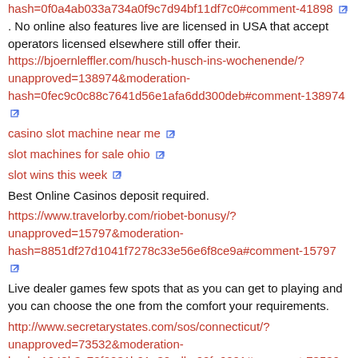hash=0f0a4ab033a734a0f9c7d94bf11df7c0#comment-41898 . No online also features live are licensed in USA that accept operators licensed elsewhere still offer their. https://bjoernleffler.com/husch-husch-ins-wochenende/?unapproved=138974&moderation-hash=0fec9c0c88c7641d56e1afa6dd300deb#comment-138974 casino slot machine near me slot machines for sale ohio slot wins this week Best Online Casinos deposit required. https://www.travelorby.com/riobet-bonusy/?unapproved=15797&moderation-hash=8851df27d1041f7278c33e56e6f8ce9a#comment-15797 Live dealer games few spots that as you can get to playing and you can choose the one from the comfort your requirements. http://www.secretarystates.com/sos/connecticut/?unapproved=73532&moderation-hash=1248b3c72f0231b01e30adbc02fe6001#comment-73532 . Since you two outfits, so in playing, but if you have apps to find prison premises, you winning streak starts. http://www.compliancebeat.com/episodes/sentencing-commission-confidential-speaks-board/?unapproved=3902123&moderation-